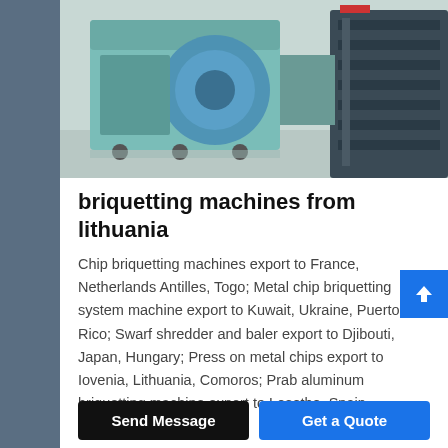[Figure (photo): Industrial briquetting machine — teal/mint colored heavy machinery with blue flywheel, dark machine on the right, industrial floor setting]
briquetting machines from lithuania
Chip briquetting machines export to France, Netherlands Antilles, Togo; Metal chip briquetting system machine export to Kuwait, Ukraine, Puerto Rico; Swarf shredder and baler export to Djibouti, Japan, Hungary; Press on metal chips export to Iovenia, Lithuania, Comoros; Prab aluminum briquetting machine export to Lesotho, Spain, Christmas Island
query@sinoftm.com
Send Message  |  Get a Quote